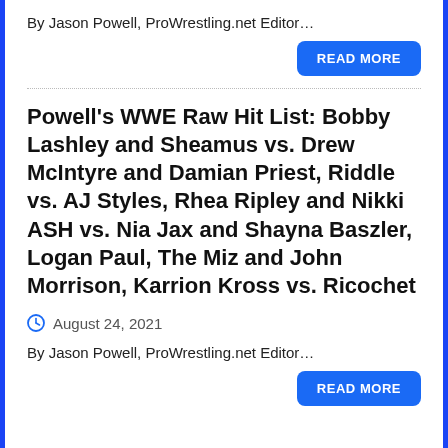By Jason Powell, ProWrestling.net Editor…
READ MORE
Powell's WWE Raw Hit List: Bobby Lashley and Sheamus vs. Drew McIntyre and Damian Priest, Riddle vs. AJ Styles, Rhea Ripley and Nikki ASH vs. Nia Jax and Shayna Baszler, Logan Paul, The Miz and John Morrison, Karrion Kross vs. Ricochet
August 24, 2021
By Jason Powell, ProWrestling.net Editor…
READ MORE